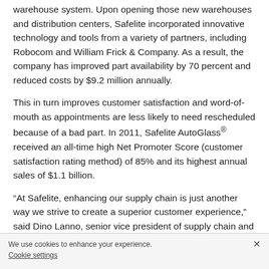warehouse system. Upon opening those new warehouses and distribution centers, Safelite incorporated innovative technology and tools from a variety of partners, including Robocom and William Frick & Company. As a result, the company has improved part availability by 70 percent and reduced costs by $9.2 million annually.
This in turn improves customer satisfaction and word-of-mouth as appointments are less likely to need rescheduled because of a bad part. In 2011, Safelite AutoGlass® received an all-time high Net Promoter Score (customer satisfaction rating method) of 85% and its highest annual sales of $1.1 billion.
“At Safelite, enhancing our supply chain is just another way we strive to create a superior customer experience,” said Dino Lanno, senior vice president of supply chain and manufacturing. “We thank our business partners who have
We use cookies to enhance your experience. Cookie settings